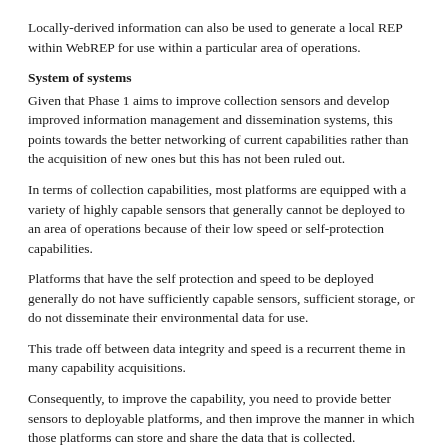Locally-derived information can also be used to generate a local REP within WebREP for use within a particular area of operations.
System of systems
Given that Phase 1 aims to improve collection sensors and develop improved information management and dissemination systems, this points towards the better networking of current capabilities rather than the acquisition of new ones but this has not been ruled out.
In terms of collection capabilities, most platforms are equipped with a variety of highly capable sensors that generally cannot be deployed to an area of operations because of their low speed or self-protection capabilities.
Platforms that have the self protection and speed to be deployed generally do not have sufficiently capable sensors, sufficient storage, or do not disseminate their environmental data for use.
This trade off between data integrity and speed is a recurrent theme in many capability acquisitions.
Consequently, to improve the capability, you need to provide better sensors to deployable platforms, and then improve the manner in which those platforms can store and share the data that is collected.